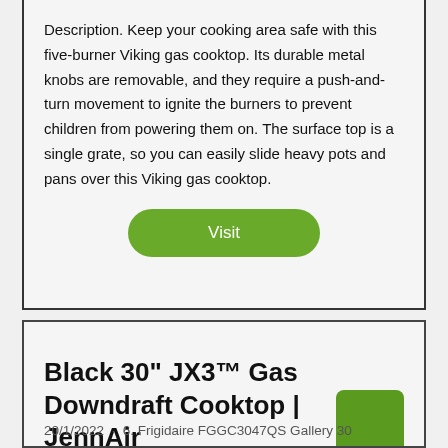Description. Keep your cooking area safe with this five-burner Viking gas cooktop. Its durable metal knobs are removable, and they require a push-and-turn movement to ignite the burners to prevent children from powering them on. The surface top is a single grate, so you can easily slide heavy pots and pans over this Viking gas cooktop.
Visit
Black 30" JX3™ Gas Downdraft Cooktop | JennAir
20/1/2022 · 6. Frigidaire FGGC3047QS Gallery 30